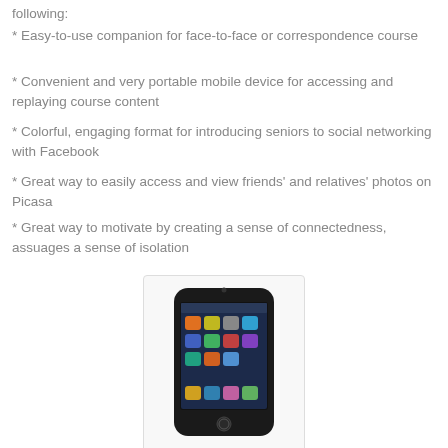following:
* Easy-to-use companion for face-to-face or correspondence course
* Convenient and very portable mobile device for accessing and replaying course content
* Colorful, engaging format for introducing seniors to social networking with Facebook
* Great way to easily access and view friends' and relatives' photos on Picasa
* Great way to motivate by creating a sense of connectedness, assuages a sense of isolation
[Figure (photo): iPod touch device showing home screen with app icons, displayed in a white card/frame with 'iPod touch' label at the bottom]